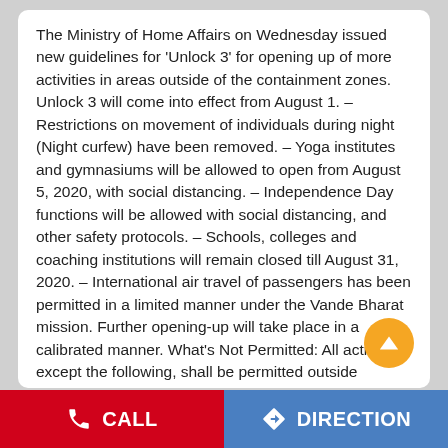The Ministry of Home Affairs on Wednesday issued new guidelines for 'Unlock 3' for opening up of more activities in areas outside of the containment zones. Unlock 3 will come into effect from August 1. – Restrictions on movement of individuals during night (Night curfew) have been removed. – Yoga institutes and gymnasiums will be allowed to open from August 5, 2020, with social distancing. – Independence Day functions will be allowed with social distancing, and other safety protocols. – Schools, colleges and coaching institutions will remain closed till August 31, 2020. – International air travel of passengers has been permitted in a limited manner under the Vande Bharat mission. Further opening-up will take place in a calibrated manner. What's Not Permitted: All activities, except the following, shall be permitted outside containment zones: – Metro Rail – Cinema halls, swimming pools, entertainment parks, theatres, bars, auditoriums, assembly halls and similar places. – Social/ political/ sports/ entertainment/ academic/ cultural/ religious
CALL   DIRECTION